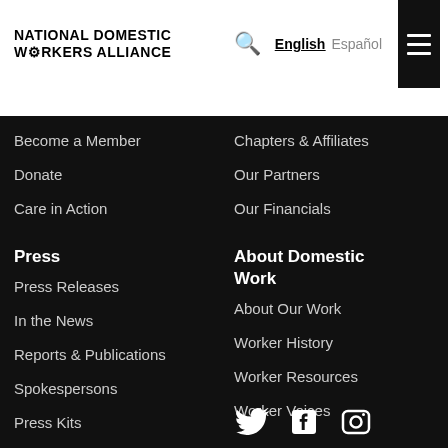National Domestic Workers Alliance | English | Español
Become a Member
Donate
Care in Action
Chapters & Affiliates
Our Partners
Our Financials
Press
Press Releases
In the News
Reports & Publications
Spokespersons
Press Kits
About Domestic Work
About Our Work
Worker History
Worker Resources
Worker Voices
[Figure (illustration): Social media icons: Twitter (bird), Facebook (f), Instagram (camera)]